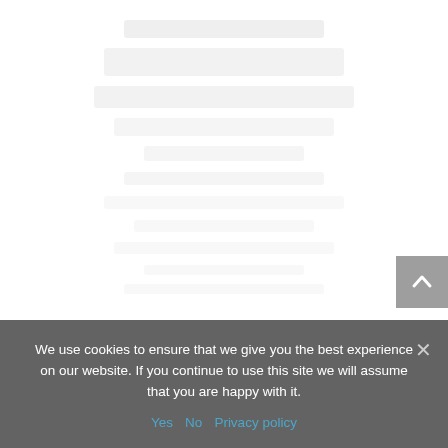[Figure (screenshot): Faded/watermarked website content area showing partially visible text and logo in light gray tones on white background]
We use cookies to ensure that we give you the best experience on our website. If you continue to use this site we will assume that you are happy with it.
Yes   No   Privacy policy